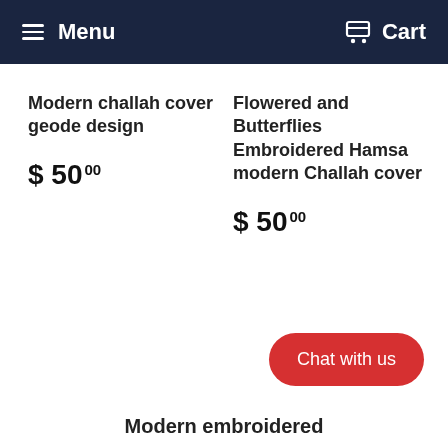Menu   Cart
Modern challah cover geode design
$ 5000
Flowered and Butterflies Embroidered Hamsa modern Challah cover
$ 5000
Chat with us
Modern embroidered